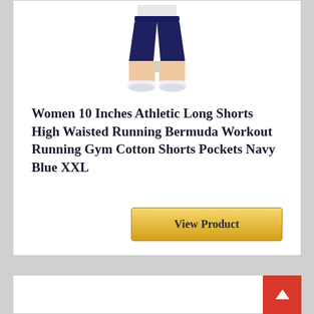[Figure (photo): Photo of a person's lower body wearing navy blue athletic shorts (Bermuda/long shorts style) and white sneakers, cropped at mid-torso. The shorts are dark navy blue.]
Women 10 Inches Athletic Long Shorts High Waisted Running Bermuda Workout Running Gym Cotton Shorts Pockets Navy Blue XXL
View Product